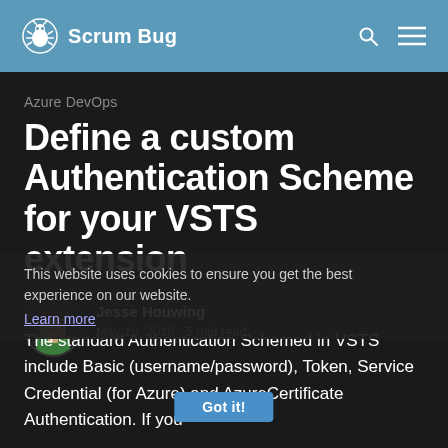Scrum Bug
Azure DevOps
Define a custom Authentication Scheme for your VSTS extension
Jesse Houwing
May 10, 2016 · 5 min read
This website uses cookies to ensure you get the best experience on our website.
Learn more
The standard Authentication Schemed in VSTS include Basic (username/password), Token, Service Credential (for Azure) and AzureCertificate Authentication. If you